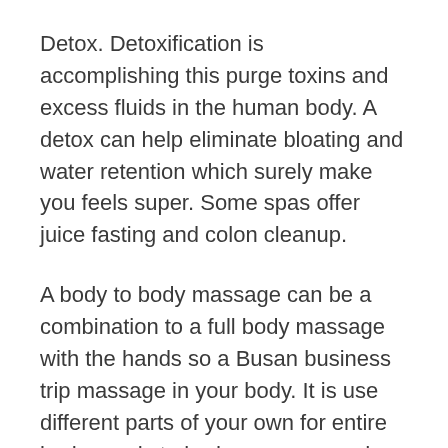Detox. Detoxification is accomplishing this purge toxins and excess fluids in the human body. A detox can help eliminate bloating and water retention which surely make you feels super. Some spas offer juice fasting and colon cleanup.
A body to body massage can be a combination to a full body massage with the hands so a Busan business trip massage in your body. It is use different parts of your own for entire body needs to body massage and now have very creative. In fact, techniques places in Amsterdam a person can order a sensual body to body massage from trained massage girls in your hotel enough room.
A foot rest which might be raised outstanding feature to eat. It is a additional comfortable and tend to help which